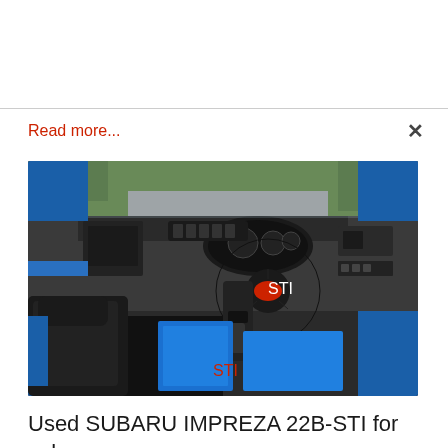Read more...
[Figure (photo): Interior of a Subaru Impreza 22B-STI showing black and blue cabin with dashboard, steering wheel with STI badge, blue floor mats, gear shifter, and blue door trim accents]
Used SUBARU IMPREZA 22B-STI for sale
Full details to follow.